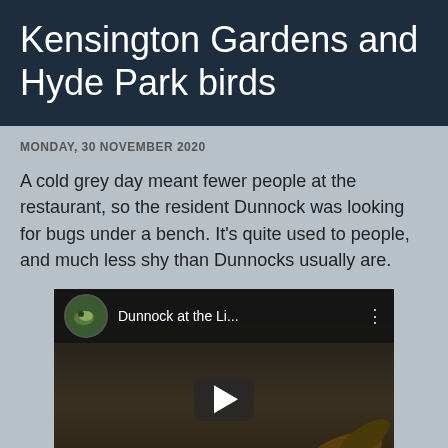Kensington Gardens and Hyde Park birds
MONDAY, 30 NOVEMBER 2020
A cold grey day meant fewer people at the restaurant, so the resident Dunnock was looking for bugs under a bench. It's quite used to people, and much less shy than Dunnocks usually are.
[Figure (screenshot): Embedded YouTube video player showing 'Dunnock at the Li...' with a circular thumbnail of the bird, a dark video frame with leaves in the background, and a play button in the center.]